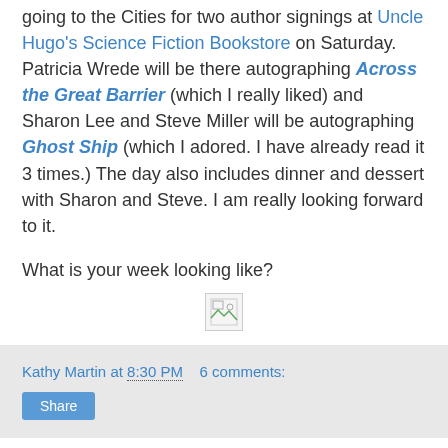going to the Cities for two author signings at Uncle Hugo's Science Fiction Bookstore on Saturday. Patricia Wrede will be there autographing Across the Great Barrier (which I really liked) and Sharon Lee and Steve Miller will be autographing Ghost Ship (which I adored. I have already read it 3 times.) The day also includes dinner and dessert with Sharon and Steve. I am really looking forward to it.
What is your week looking like?
[Figure (illustration): Broken/missing image placeholder icon]
Kathy Martin at 8:30 PM   6 comments:
Share
In My Mailbox (August 21, 2011)
[Figure (photo): Black and white photograph, partially visible at bottom of page]